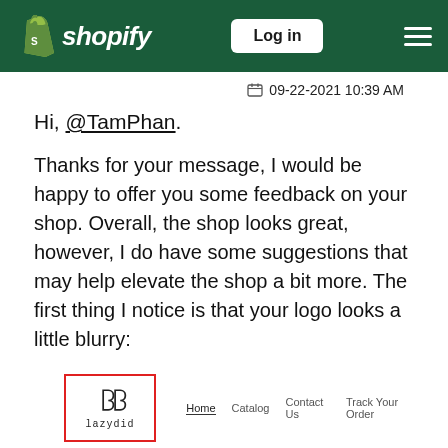Shopify — Log in
09-22-2021 10:39 AM
Hi, @TamPhan.
Thanks for your message, I would be happy to offer you some feedback on your shop. Overall, the shop looks great, however, I do have some suggestions that may help elevate the shop a bit more. The first thing I notice is that your logo looks a little blurry:
[Figure (screenshot): Screenshot of a website header showing the 'lazydid' logo highlighted with a red border, and navigation links: Home, Catalog, Contact Us, Track Your Order]